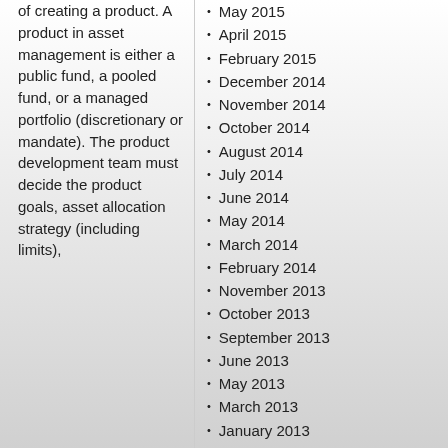of creating a product. A product in asset management is either a public fund, a pooled fund, or a managed portfolio (discretionary or mandate). The product development team must decide the product goals, asset allocation strategy (including limits),
May 2015
April 2015
February 2015
December 2014
November 2014
October 2014
August 2014
July 2014
June 2014
May 2014
March 2014
February 2014
November 2013
October 2013
September 2013
June 2013
May 2013
March 2013
January 2013
December 2012
October 2012
August 2012
July 2012
June 2012